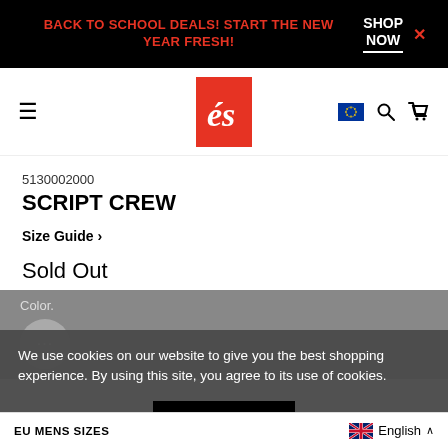BACK TO SCHOOL DEALS! START THE NEW YEAR FRESH! SHOP NOW
[Figure (logo): és skate shoe brand logo - red rectangle with white cursive 'és' text]
5130002000
SCRIPT CREW
Size Guide >
Sold Out
Color.
We use cookies on our website to give you the best shopping experience. By using this site, you agree to its use of cookies.
I agree
EU MENS SIZES  English